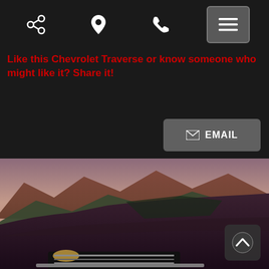Navigation bar with share, location, phone, and menu icons
Like this Chevrolet Traverse or know someone who might like it? Share it!
EMAIL
[Figure (photo): Front view of a dark burgundy Chevrolet Traverse SUV parked in front of rocky mountain terrain at dusk with reddish-purple sky]